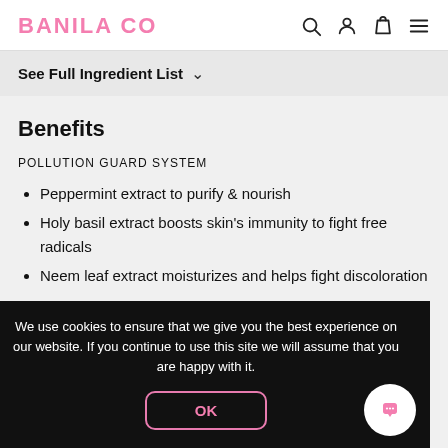BANILA CO
See Full Ingredient List ∨
Benefits
POLLUTION GUARD SYSTEM
Peppermint extract to purify & nourish
Holy basil extract boosts skin's immunity to fight free radicals
Neem leaf extract moisturizes and helps fight discoloration
We use cookies to ensure that we give you the best experience on our website. If you continue to use this site we will assume that you are happy with it.
OK